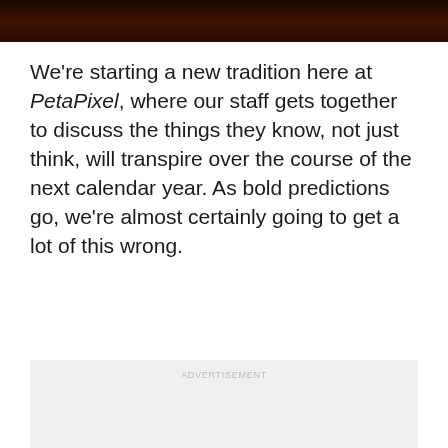[Figure (photo): Dark reddish-brown image bar at the top of the page, cropped photo with dark tones]
We're starting a new tradition here at PetaPixel, where our staff gets together to discuss the things they know, not just think, will transpire over the course of the next calendar year. As bold predictions go, we're almost certainly going to get a lot of this wrong.
ADVERTISEMENT